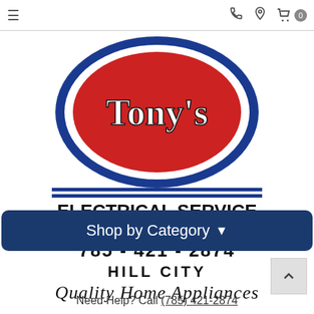≡  📞  📍  🛒 0
[Figure (logo): Tony's Electrical Service & Appliance logo: blue oval outline with red filled oval containing 'Tony's' in white script. Below: two blue horizontal lines with 'ELECTRICAL SERVICE & APPLIANCE' in bold black text between them. Below: '785 - 421 - 2874' in bold black, 'HILL CITY' in bold black, 'Quality Home Appliances' in black cursive script.]
Shop by Category ▾
Need Help? Call (785) 421-2874